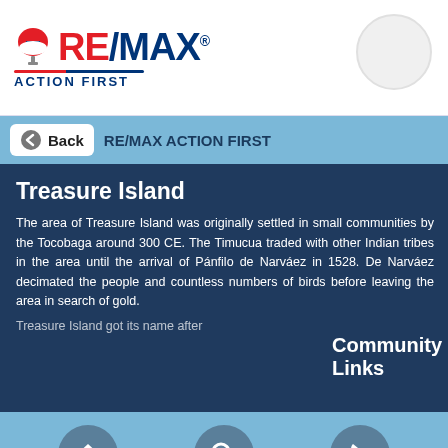[Figure (logo): RE/MAX Action First logo with balloon icon and tagline]
Back  RE/MAX ACTION FIRST
Treasure Island
The area of Treasure Island was originally settled in small communities by the Tocobaga around 300 CE. The Timucua traded with other Indian tribes in the area until the arrival of Pánfilo de Narváez in 1528. De Narváez decimated the people and countless numbers of birds before leaving the area in search of gold.
Treasure Island got its name after
Community Links
Home | Search | Phone